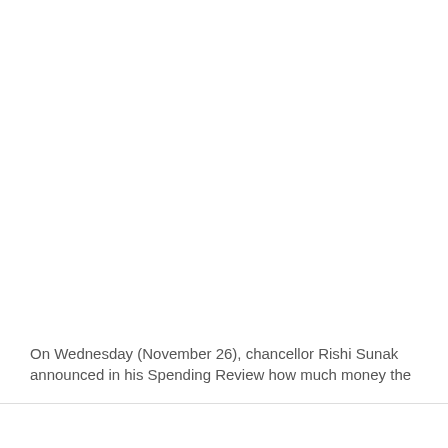On Wednesday (November 26), chancellor Rishi Sunak announced in his Spending Review how much money the